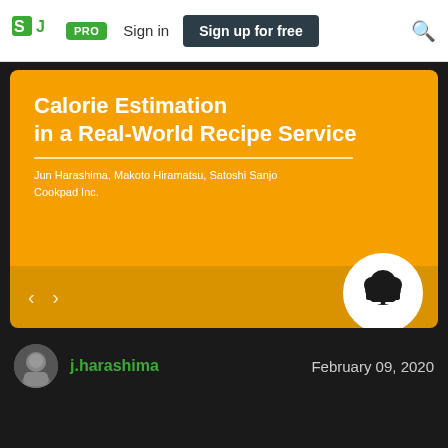SJ PRO  Sign in  Sign up for free
[Figure (screenshot): Slide presentation thumbnail on orange background showing title 'Calorie Estimation in a Real-World Recipe Service' by Jun Harashima, Makoto Hiramatsu, Satoshi Sanjo, Cookpad Inc. with a Cookpad chef logo icon circle in the bottom right.]
j.harashima
February 09, 2020